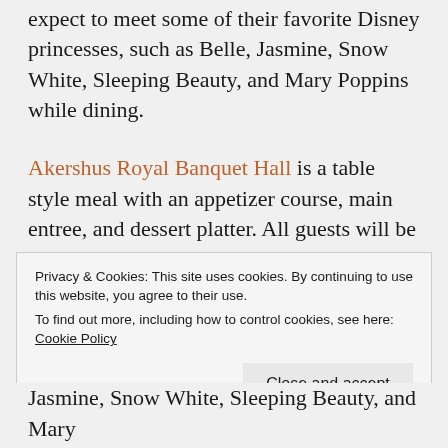expect to meet some of their favorite Disney princesses, such as Belle, Jasmine, Snow White, Sleeping Beauty, and Mary Poppins while dining.
Akershus Royal Banquet Hall is a table style meal with an appetizer course, main entree, and dessert platter. All guests will be served Scandinavian seafood, imported cheeses, cured and sliced meats, salads, and fruits. Guests will then be able to choose a main entree and then will be served a platter of 3 different desserts. There are also a number of kid friendly options available. This dining experience takes about an hour
Privacy & Cookies: This site uses cookies. By continuing to use this website, you agree to their use.
To find out more, including how to control cookies, see here: Cookie Policy
Close and accept
Jasmine, Snow White, Sleeping Beauty, and Mary